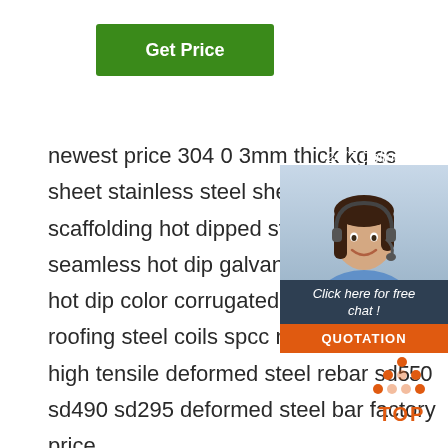[Figure (other): Green 'Get Price' button]
newest price 304 0 3mm thick kg ss sheet stainless steel sheets 304 ind scaffolding hot dipped standard leng seamless hot dip galvanized steel p hot dip color corrugated prepainted roofing steel coils spcc manufacture high tensile deformed steel rebar sd550 sd490 sd295 deformed steel bar factory price boiler plates low temperature steel pipe
[Figure (other): 24/7 Online chat widget with woman wearing headset, Click here for free chat!, QUOTATION button]
[Figure (other): Orange TOP button with upward arrow dots]